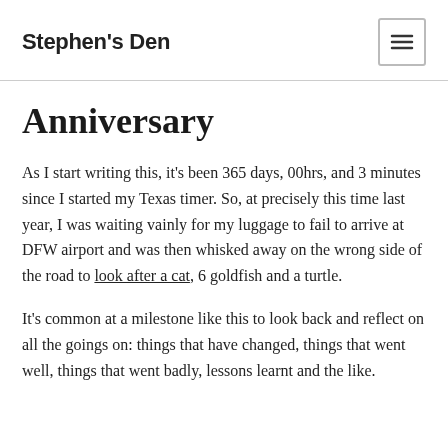Stephen's Den
Anniversary
As I start writing this, it's been 365 days, 00hrs, and 3 minutes since I started my Texas timer. So, at precisely this time last year, I was waiting vainly for my luggage to fail to arrive at DFW airport and was then whisked away on the wrong side of the road to look after a cat, 6 goldfish and a turtle.
It's common at a milestone like this to look back and reflect on all the goings on: things that have changed, things that went well, things that went badly, lessons learnt and the like.